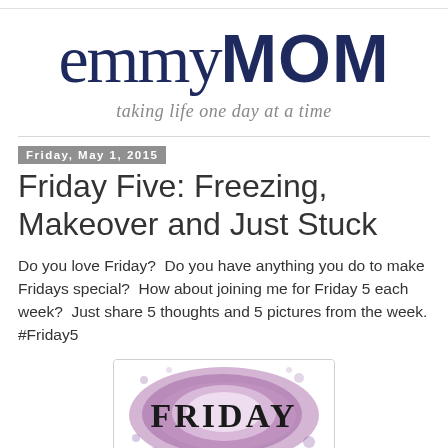emmyMOM — taking life one day at a time
Friday, May 1, 2015
Friday Five: Freezing, Makeover and Just Stuck
Do you love Friday?  Do you have anything you do to make Fridays special?  How about joining me for Friday 5 each week?  Just share 5 thoughts and 5 pictures from the week. #Friday5
[Figure (illustration): A decorative image with purple/lavender spray paint effect background and bold black text reading FRIDAY in the center]